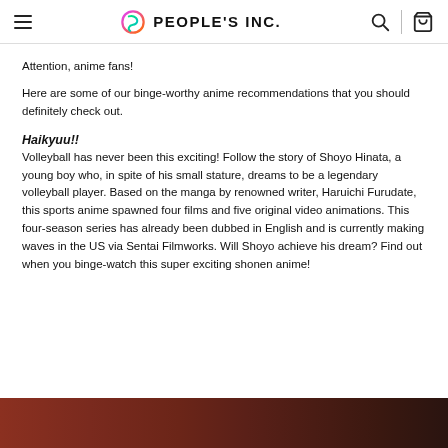PEOPLE'S INC.
Attention, anime fans!
Here are some of our binge-worthy anime recommendations that you should definitely check out.
Haikyuu!!
Volleyball has never been this exciting! Follow the story of Shoyo Hinata, a young boy who, in spite of his small stature, dreams to be a legendary volleyball player. Based on the manga by renowned writer, Haruichi Furudate, this sports anime spawned four films and five original video animations. This four-season series has already been dubbed in English and is currently making waves in the US via Sentai Filmworks. Will Shoyo achieve his dream? Find out when you binge-watch this super exciting shonen anime!
[Figure (photo): Bottom portion of a Haikyuu anime image showing dark reddish-brown tones]